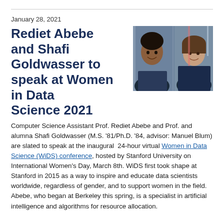January 28, 2021
Rediet Abebe and Shafi Goldwasser to speak at Women in Data Science 2021
[Figure (photo): Headshots of two women, Rediet Abebe and Shafi Goldwasser, side by side outdoors]
Computer Science Assistant Prof. Rediet Abebe and Prof. and alumna Shafi Goldwasser (M.S. '81/Ph.D. '84, advisor: Manuel Blum) are slated to speak at the inaugural 24-hour virtual Women in Data Science (WiDS) conference, hosted by Stanford University on International Women's Day, March 8th. WiDS first took shape at Stanford in 2015 as a way to inspire and educate data scientists worldwide, regardless of gender, and to support women in the field. Abebe, who began at Berkeley this spring, is a specialist in artificial intelligence and algorithms for resource allocation.